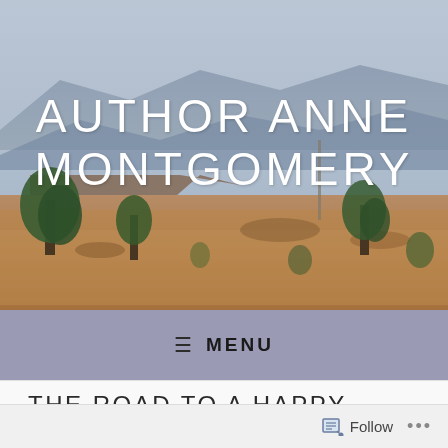[Figure (photo): Desert landscape with mountains in background, reddish sandy terrain with green shrubs and trees, blue sky, used as website header photo background]
AUTHOR ANNE MONTGOMERY
≡ MENU
THE ROAD TO A HAPPY RETIREMENT CAN BE SLIPPERY
Follow ...